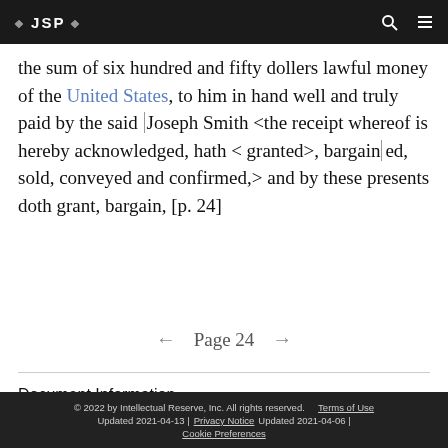❖ JSP ❖
the sum of six hundred and fifty dollers lawful money of the United States, to him in hand well and truly paid by the said Joseph Smith <the receipt whereof is hereby acknowledged, hath <granted>, bargain|cd, sold, conveyed and confirmed,> and by these presents doth grant, bargain, [p. 24]
← Page 24 →
Document Information
© 2022 by Intellectual Reserve, Inc. All rights reserved. Terms of Use Updated 2021-04-13 | Privacy Notice Updated 2021-04-06 | Cookie Preferences